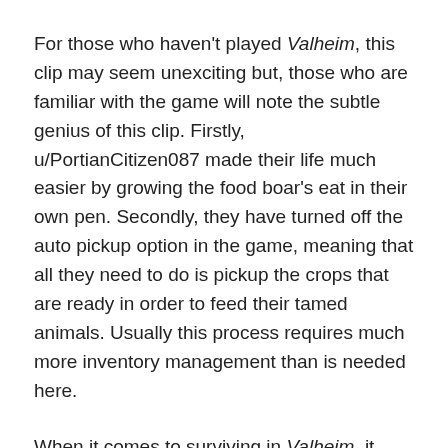For those who haven't played Valheim, this clip may seem unexciting but, those who are familiar with the game will note the subtle genius of this clip. Firstly, u/PortianCitizen087 made their life much easier by growing the food boar's eat in their own pen. Secondly, they have turned off the auto pickup option in the game, meaning that all they need to do is pickup the crops that are ready in order to feed their tamed animals. Usually this process requires much more inventory management than is needed here.
When it comes to surviving in Valheim, it may seem daunting at first, but once players are able to create a cultivator, this becomes much easier. While the game